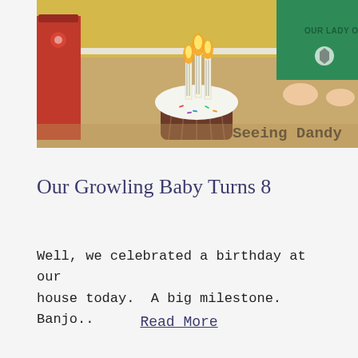[Figure (photo): A birthday cupcake with lit candles on a wooden table. A child in a green 'Our Lady of' shirt is visible in the background. Red gift bags are on the left. A watermark reads 'Seeing Dandy' in the lower right.]
Our Growling Baby Turns 8
Well, we celebrated a birthday at our house today.  A big milestone.  Banjo..
Read More